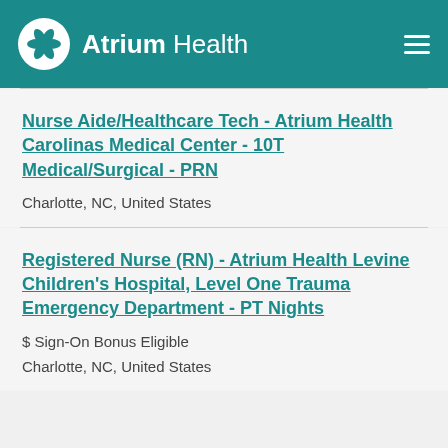Atrium Health
Nurse Aide/Healthcare Tech - Atrium Health Carolinas Medical Center - 10T Medical/Surgical - PRN
Charlotte, NC, United States
Registered Nurse (RN) - Atrium Health Levine Children's Hospital, Level One Trauma Emergency Department - PT Nights
$ Sign-On Bonus Eligible
Charlotte, NC, United States